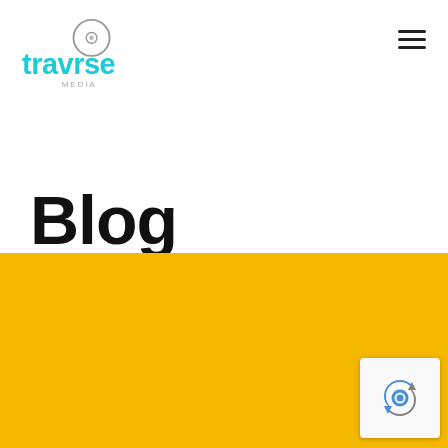[Figure (logo): Travrse Media logo with circular disc icon above teal/cyan text 'travrse' and smaller 'media' text below]
Blog
Learn. Grow. Conquer.
[Figure (photo): Two pencils on a bright yellow/golden background, photographed from above at an angle, pencils pointing to upper right]
[Figure (other): reCAPTCHA badge with blue and grey recycling-arrow icon]